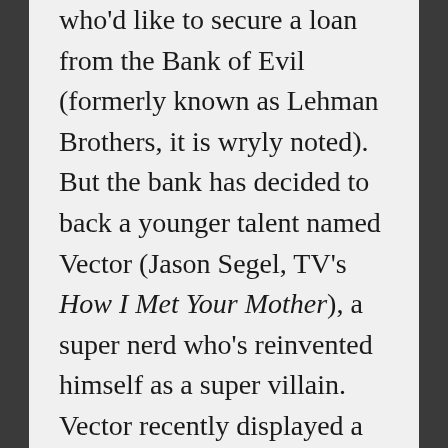who'd like to secure a loan from the Bank of Evil (formerly known as Lehman Brothers, it is wryly noted). But the bank has decided to back a younger talent named Vector (Jason Segel, TV's How I Met Your Mother), a super nerd who's reinvented himself as a super villain. Vector recently displayed a tremendous amount of cunning by stealing the Great Pyramid from Giza, replacing it with a giant inflatable version without anybody noticing. The real pyramid now sits in Vector's (expansive)